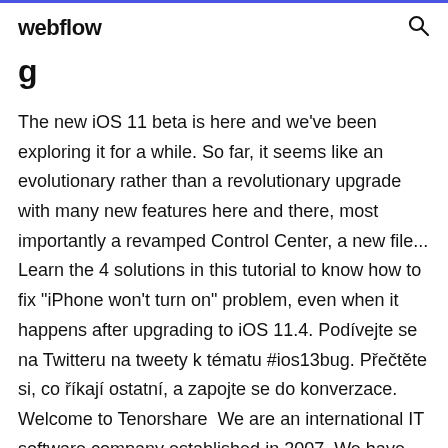webflow
g
The new iOS 11 beta is here and we've been exploring it for a while. So far, it seems like an evolutionary rather than a revolutionary upgrade with many new features here and there, most importantly a revamped Control Center, a new file... Learn the 4 solutions in this tutorial to know how to fix "iPhone won't turn on" problem, even when it happens after upgrading to iOS 11.4. Podívejte se na Twitteru na tweety k tématu #ios13bug. Přečtěte si, co říkají ostatní, a zapojte se do konverzace. Welcome to Tenorshare  We are an international IT software company established in 2007. We have created quite a lot of highly-rated